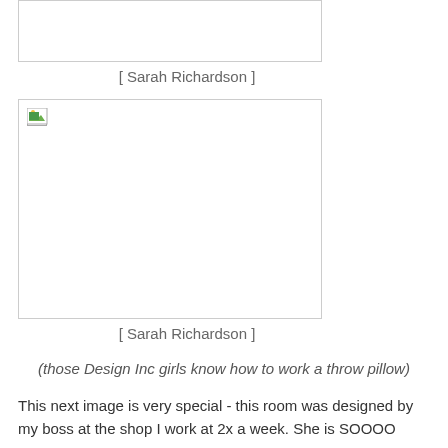[Figure (photo): Broken image placeholder (top, partially visible)]
[ Sarah Richardson ]
[Figure (photo): Broken image placeholder with small icon in top-left corner]
[ Sarah Richardson ]
(those Design Inc girls know how to work a throw pillow)
This next image is very special - this room was designed by my boss at the shop I work at 2x a week. She is SOOOO